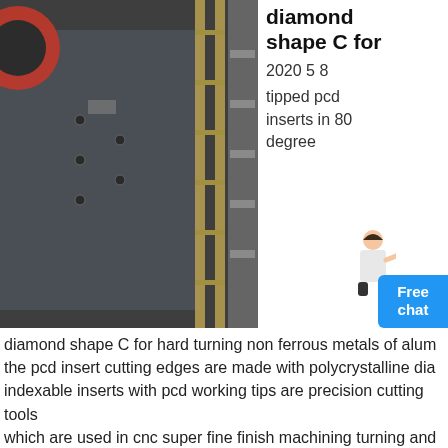[Figure (photo): Industrial machine equipment, large metal structure with red circular element and bolted panels, grey industrial setting]
diamond shape C for
2020 5 8
tipped pcd inserts in 80 degree
[Figure (photo): Person in white shirt, small figure, customer service representative]
Free chat
diamond shape C for hard turning non ferrous metals of alum the pcd insert cutting edges are made with polycrystalline dia indexable inserts with pcd working tips are precision cutting tools which are used in cnc super fine finish machining turning and milling automobile engine block cylinder head gearbox cast aluminum alloy with silicon content
possuir agora
[Figure (photo): Industrial structural steel framework, construction site with metal beams and supports]
Conjunto de sopradoras